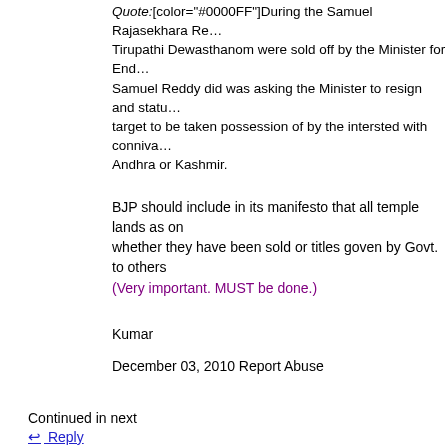Quote:[color="#0000FF"]During the Samuel Rajasekhara Reddy... Tirupathi Dewasthanom were sold off by the Minister for Endowments... Samuel Reddy did was asking the Minister to resign and statues... target to be taken possession of by the intersted with connivance... Andhra or Kashmir.
BJP should include in its manifesto that all temple lands as on... whether they have been sold or titles goven by Govt. to others...
(Very important. MUST be done.)
Kumar
December 03, 2010 Report Abuse
Continued in next
Reply
[Figure (illustration): Generic user avatar silhouette (gray figure outline on white background)]
Husky
Posting Freak